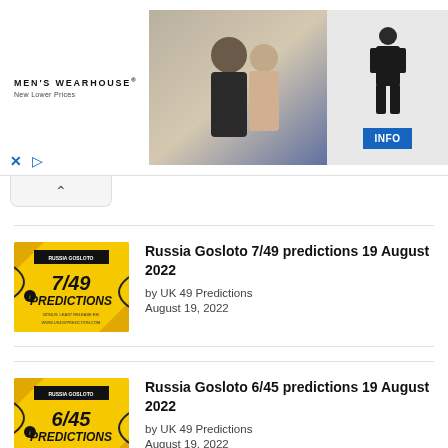[Figure (screenshot): Men's Wearhouse advertisement banner showing a couple in formal wear and a man in a suit, with an INFO button]
[Figure (screenshot): Collapse/accordion button with upward chevron arrow]
[Figure (photo): Yellow thumbnail image for Russia Gosloto 7/49 Predictions]
Russia Gosloto 7/49 predictions 19 August 2022
by UK 49 Predictions
August 19, 2022
[Figure (photo): Yellow thumbnail image for Russia Gosloto 6/45 Predictions]
Russia Gosloto 6/45 predictions 19 August 2022
by UK 49 Predictions
August 19, 2022
Russia Gosloto 4/20 predictions 19 August